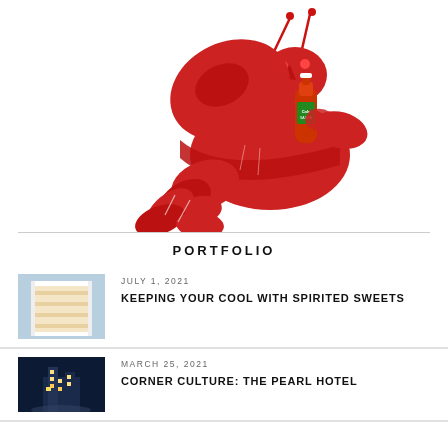[Figure (illustration): Red cartoon lobster holding a bottle of hot sauce with a ribbon wrapped around its body, on white background]
PORTFOLIO
[Figure (photo): Layered white cake slice on a blue background]
JULY 1, 2021
KEEPING YOUR COOL WITH SPIRITED SWEETS
[Figure (photo): Building or hotel exterior at night with lights]
MARCH 25, 2021
CORNER CULTURE: THE PEARL HOTEL